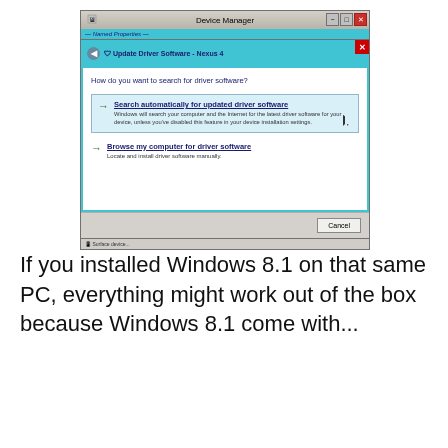[Figure (screenshot): Windows Device Manager dialog showing 'Update Driver Software - Nexus 4' with two options: 'Search automatically for updated driver software' and 'Browse my computer for driver software', with a Cancel button at the bottom.]
If you installed Windows 8.1 on that same PC, everything might work out of the box because Windows 8.1 come with...